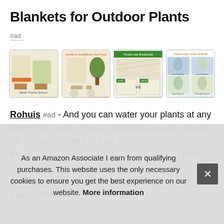Blankets for Outdoor Plants
#ad
[Figure (photo): Four product images of plant blankets/covers for outdoor plants shown in a row]
Rohuis #ad - And you can water your plants at any time. Don't worry about it blowing away or coming off. No longer need to carry plants back and forth inside or outside. Specially exclusively combined with the plant cover to protect your plants.
As an Amazon Associate I earn from qualifying purchases. This website uses the only necessary cookies to ensure you get the best experience on our website. More information
And this plant cover will not be poked by your plants. This